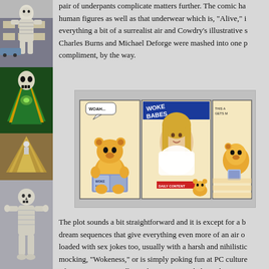[Figure (illustration): Left sidebar with comic book character illustrations: skeleton/mummy figure in white (top), green-cloaked skull figure (middle), brown/tan geometric figure (lower middle), skeleton figure in white (bottom)]
pair of underpants complicate matters further. The comic has human figures as well as that underwear which is, "Alive," i everything a bit of a surrealist air and Cowdry's illustrative s Charles Burns and Michael Deforge were mashed into one p compliment, by the way.
[Figure (illustration): Comic strip panels showing: Panel 1 - a yellow bear character sitting and reading a magazine with speech bubble saying 'WOAH...'; Panel 2 - a woman on the cover of 'WOKE BABES' magazine with text 'DAILY CONTENT'; Panel 3 - partial view of bear character]
The plot sounds a bit straightforward and it is except for a b dream sequences that give everything even more of an air o loaded with sex jokes too, usually with a harsh and nihilistic mocking, "Wokeness," or is simply poking fun at PC culture where Denton excitedly reads a magazine dedicated to a wo Simpson's Apu in a comedic manner. Is, "Crash Site," makin Apu? Is it just having a laugh at the character's expense and can't tell as Cowdry seems more interested in, "Going there..."